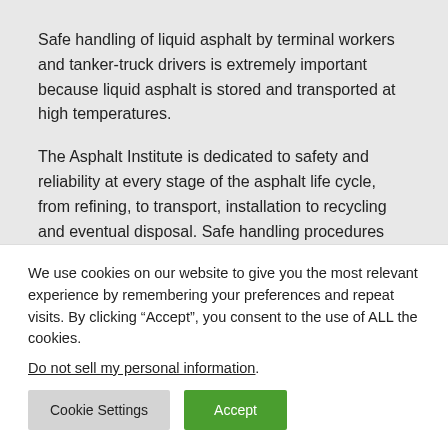Safe handling of liquid asphalt by terminal workers and tanker-truck drivers is extremely important because liquid asphalt is stored and transported at high temperatures.
The Asphalt Institute is dedicated to safety and reliability at every stage of the asphalt life cycle, from refining, to transport, installation to recycling and eventual disposal. Safe handling procedures are a
We use cookies on our website to give you the most relevant experience by remembering your preferences and repeat visits. By clicking “Accept”, you consent to the use of ALL the cookies.
Do not sell my personal information.